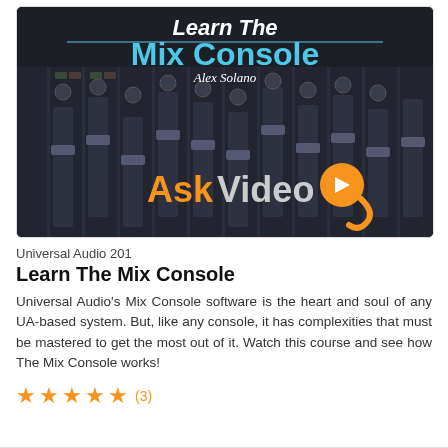[Figure (screenshot): Course thumbnail image showing 'Learn The Mix Console' title in cyan text with 'Alex Solano' in white italic, overlaid on a dark mixing console background. AskVideo logo in orange and white at the bottom.]
Universal Audio 201
Learn The Mix Console
Universal Audio's Mix Console software is the heart and soul of any UA-based system. But, like any console, it has complexities that must be mastered to get the most out of it. Watch this course and see how The Mix Console works!
★★★★★ (3)